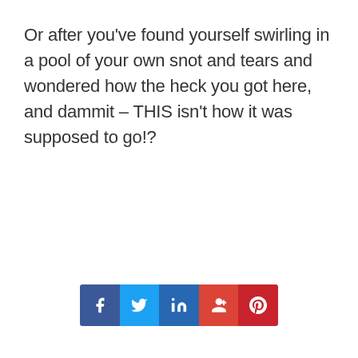Or after you've found yourself swirling in a pool of your own snot and tears and wondered how the heck you got here, and dammit – THIS isn't how it was supposed to go!?
[Figure (infographic): Social media sharing buttons: Facebook (blue), Twitter (light blue), LinkedIn (dark blue), Google+ (red), Pinterest (dark red)]